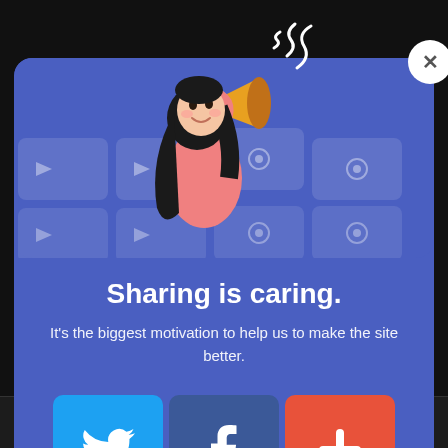[Figure (screenshot): Modal dialog with sharing prompt over a dark video background. Features an animated girl with megaphone illustration, title text, subtitle, and three social share buttons (Twitter, Facebook, plus). A close button (X) is in the top-right. Bottom shows a server player bar with 'Server Voe' text.]
Sharing is caring.
It's the biggest motivation to help us to make the site better.
Server Voe